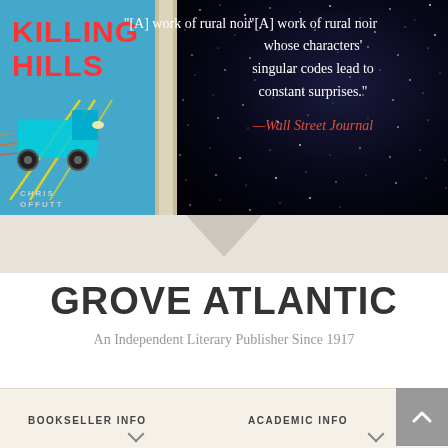[Figure (illustration): Book advertisement banner showing 'Killing Hills' by Chris Offutt. Left side has a blue book cover with red title text 'KILLING HILLS' and a truck illustration, plus book spine. Right side shows a dark starry night background with a white quote text and red italic attribution to Wall Street Journal.]
"[A] work of rural noir whose characters' singular codes lead to constant surprises." —Wall Street Journal
GROVE ATLANTIC
An Independent Literary Publisher Since 1917
BOOKSELLER INFO
ACADEMIC INFO